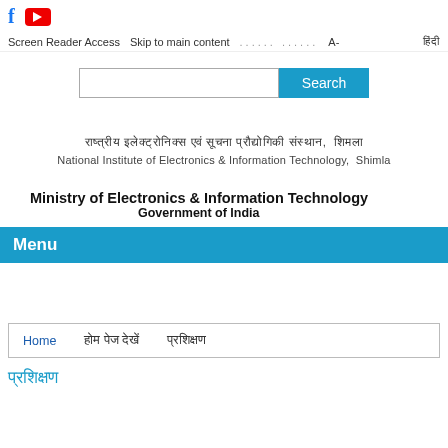[Figure (logo): Facebook icon (blue f) and YouTube icon (red rectangle with white play triangle)]
Screen Reader Access   Skip to main content   A-   हिंदी
[Figure (screenshot): Search input box with Search button]
राष्ट्रीय इलेक्ट्रॉनिक्स एवं सूचना प्रौद्योगिकी संस्थान, शिमला
National Institute of Electronics & Information Technology,  Shimla
Ministry of Electronics & Information Technology
Government of India
Menu
Home   होम पेज देखें   प्रशिक्षण
प्रशिक्षण